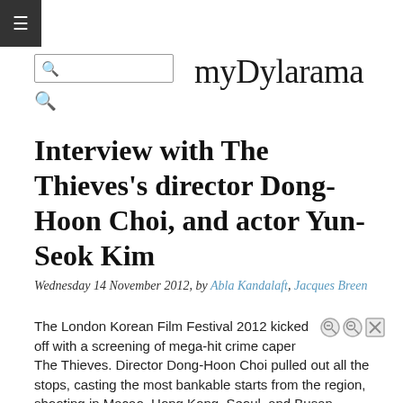≡
myDylarama
Interview with The Thieves's director Dong-Hoon Choi, and actor Yun-Seok Kim
Wednesday 14 November 2012, by Abla Kandalaft, Jacques Breen
The London Korean Film Festival 2012 kicked off with a screening of mega-hit crime caper The Thieves. Director Dong-Hoon Choi pulled out all the stops, casting the most bankable starts from the region, shooting in Macao, Hong Kong, Seoul, and Busan. On 2 October 2012, "The Thieves" passed "The Host" (13 million) to become the best selling South Korean film.